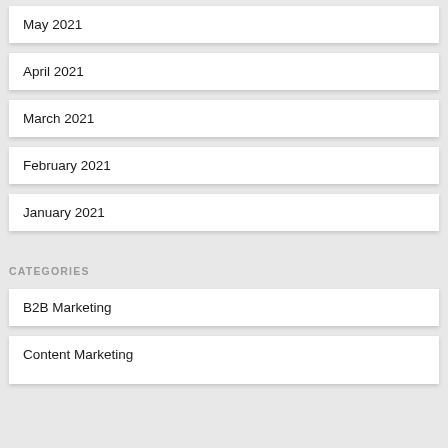May 2021
April 2021
March 2021
February 2021
January 2021
CATEGORIES
B2B Marketing
Content Marketing